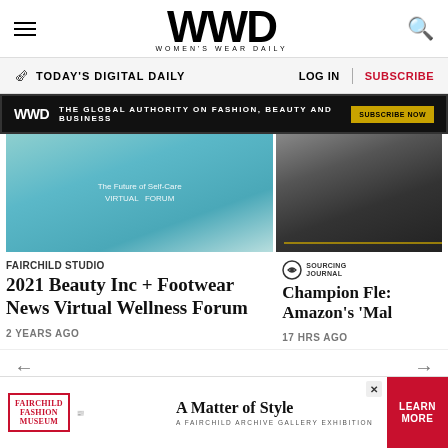WWD — Women's Wear Daily
TODAY'S DIGITAL DAILY  LOG IN  SUBSCRIBE
WWD  THE GLOBAL AUTHORITY ON FASHION, BEAUTY AND BUSINESS  SUBSCRIBE NOW
[Figure (photo): Teal/aqua textured surface with text overlay reading 'The Future of Self-Care Virtual Forum']
[Figure (photo): Dark moody interior photo, possibly a store or elevator]
FAIRCHILD STUDIO
2021 Beauty Inc + Footwear News Virtual Wellness Forum
2 YEARS AGO
SOURCING JOURNAL
Champion Fle: Amazon's 'Mal
17 HRS AGO
← →
[Figure (illustration): Bottom advertisement for Fairchild Fashion Museum — 'A Matter of Style: A Fairchild Archive Gallery Exhibition' with LEARN MORE button]